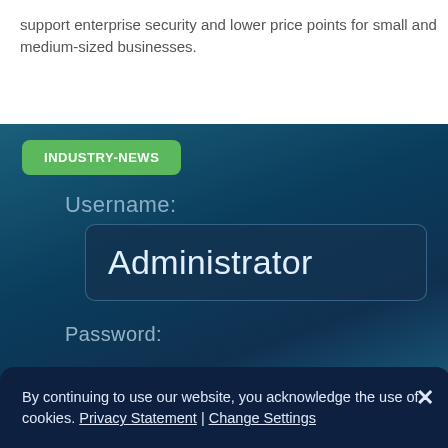support enterprise security and lower price points for small and medium-sized businesses.
[Figure (screenshot): Screenshot of a login form with 'Username:' label, an input field containing 'Administrator', and a 'Password:' label below, on a dark blue gradient background. A green 'INDUSTRY-NEWS' badge overlays the top-left of the image.]
By continuing to use our website, you acknowledge the use of cookies. Privacy Statement | Change Settings